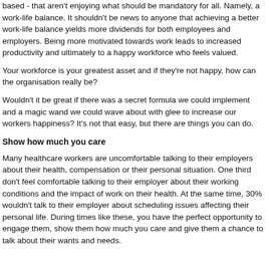based - that aren't enjoying what should be mandatory for all. Namely, a work-life balance. It shouldn't be news to anyone that achieving a better work-life balance yields more dividends for both employees and employers. Being more motivated towards work leads to increased productivity and ultimately to a happy workforce who feels valued.
Your workforce is your greatest asset and if they're not happy, how can the organisation really be?
Wouldn't it be great if there was a secret formula we could implement and a magic wand we could wave about with glee to increase our workers happiness? It's not that easy, but there are things you can do.
Show how much you care
Many healthcare workers are uncomfortable talking to their employers about their health, compensation or their personal situation. One third don't feel comfortable talking to their employer about their working conditions and the impact of work on their health. At the same time, 30% wouldn't talk to their employer about scheduling issues affecting their personal life. During times like these, you have the perfect opportunity to engage them, show them how much you care and give them a chance to talk about their wants and needs.